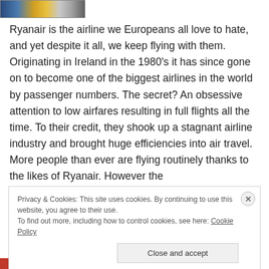[Figure (photo): A partial image of an airplane at an airport, showing the fuselage and part of the tail section]
Ryanair is the airline we Europeans all love to hate, and yet despite it all, we keep flying with them. Originating in Ireland in the 1980's it has since gone on to become one of the biggest airlines in the world by passenger numbers. The secret? An obsessive attention to low airfares resulting in full flights all the time. To their credit, they shook up a stagnant airline industry and brought huge efficiencies into air travel. More people than ever are flying routinely thanks to the likes of Ryanair. However the
Privacy & Cookies: This site uses cookies. By continuing to use this website, you agree to their use.
To find out more, including how to control cookies, see here: Cookie Policy
Close and accept